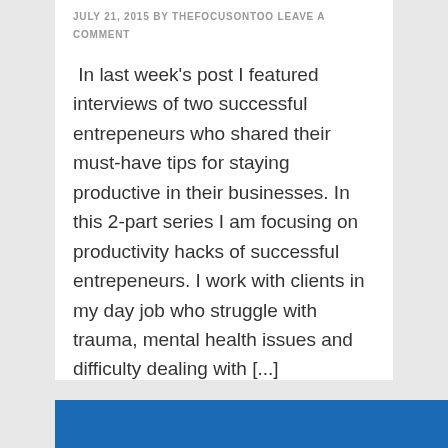JULY 21, 2015 BY THEFOCUSONTOO LEAVE A COMMENT
In last week's post I featured interviews of two successful entrepeneurs who shared their must-have tips for staying productive in their businesses. In this 2-part series I am focusing on productivity hacks of successful entrepeneurs. I work with clients in my day job who struggle with trauma, mental health issues and difficulty dealing with [...]
[Figure (infographic): Social share buttons: Facebook (blue), Twitter (light blue), Pinterest (red) with count 2, LinkedIn (dark blue), and share icon with total 2 SHARES]